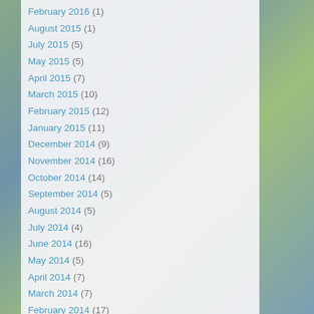February 2016 (1)
August 2015 (1)
July 2015 (5)
May 2015 (5)
April 2015 (7)
March 2015 (10)
February 2015 (12)
January 2015 (11)
December 2014 (9)
November 2014 (16)
October 2014 (14)
September 2014 (5)
August 2014 (5)
July 2014 (4)
June 2014 (16)
May 2014 (5)
April 2014 (7)
March 2014 (7)
February 2014 (17)
January 2014 (27)
December 2013 (24)
November 2013 (26)
October 2013 (39)